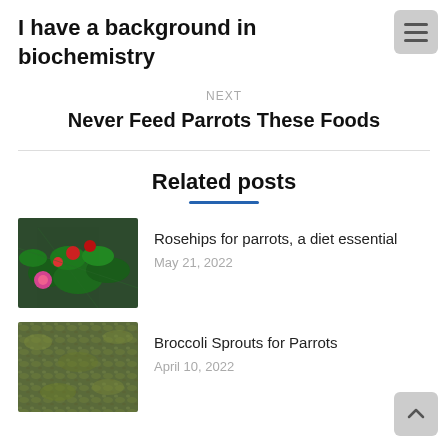I have a background in biochemistry
NEXT
Never Feed Parrots These Foods
Related posts
Rosehips for parrots, a diet essential
May 21, 2022
[Figure (photo): Photo of rosehips plant with red berries and pink flowers among green leaves]
Broccoli Sprouts for Parrots
April 10, 2022
[Figure (photo): Photo of broccoli sprouts, green leafy texture]